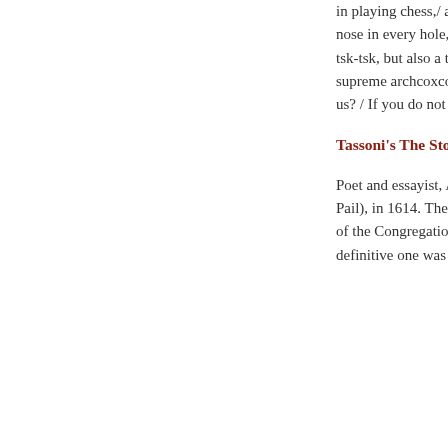in playing chess,/ and ma nose in every hole, / and t tsk-tsk, but also a table ga supreme archcoxcombe o us? / If you do not go to liv
Tassoni's The Stolen P
Poet and essayist, Alessa Pail), in 1614. The work in of the Congregation of th definitive one was publishe